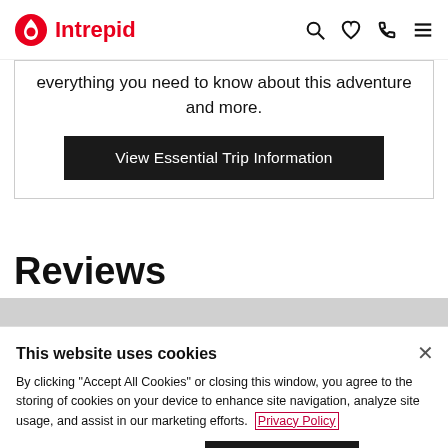Intrepid
everything you need to know about this adventure and more.
View Essential Trip Information
Reviews
This website uses cookies
By clicking "Accept All Cookies" or closing this window, you agree to the storing of cookies on your device to enhance site navigation, analyze site usage, and assist in our marketing efforts. Privacy Policy
Cookies Settings
Accept All Cookies